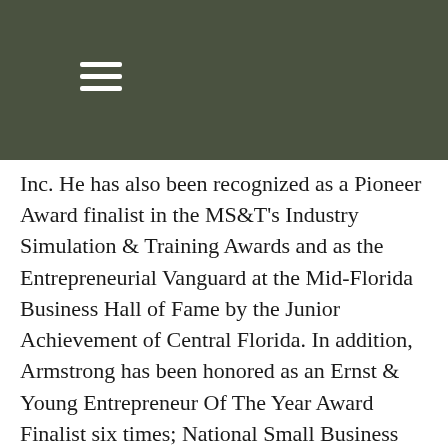☰
Inc. He has also been recognized as a Pioneer Award finalist in the MS&T's Industry Simulation & Training Awards and as the Entrepreneurial Vanguard at the Mid-Florida Business Hall of Fame by the Junior Achievement of Central Florida. In addition, Armstrong has been honored as an Ernst & Young Entrepreneur Of The Year Award Finalist six times; National Small Business Administration (SBA) Small Business Person of the Year, Valencia College Alumni Association Distinguished Graduate, I-4 Business Entrepreneur of the Year, and Orlando Business Journal CEO of the Year, as well as many other distinctions locally, regionally and